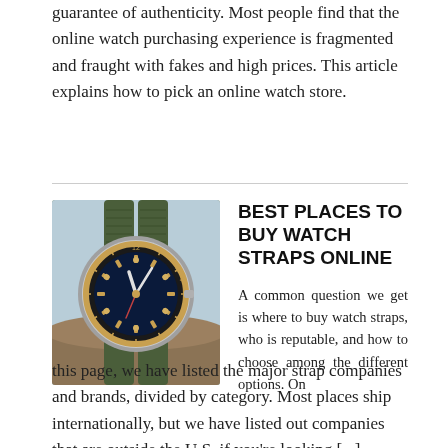guarantee of authenticity. Most people find that the online watch purchasing experience is fragmented and fraught with fakes and high prices. This article explains how to pick an online watch store.
[Figure (photo): A dive watch with a dark blue dial and gold bezel markings on a green NATO strap, resting on a rock outdoors.]
BEST PLACES TO BUY WATCH STRAPS ONLINE
A common question we get is where to buy watch straps, who is reputable, and how to choose among the different options. On this page, we have listed the major strap companies and brands, divided by category. Most places ship internationally, but we have listed out companies that are outside the U.S. if you're looking [...]